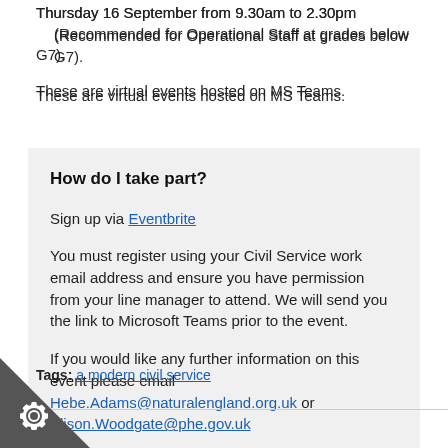Thursday 16 September from 9.30am to 2.30pm (Recommended for Operational Staff at grades below G7).
These are virtual events hosted on MS Teams.
How do I take part?
Sign up via Eventbrite
You must register using your Civil Service work email address and ensure you have permission from your line manager to attend. We will send you the link to Microsoft Teams prior to the event.
If you would like any further information on this event please email Hebe.Adams@naturalengland.org.uk or Alison.Woodgate@phe.gov.uk
Tags: a modern civil service